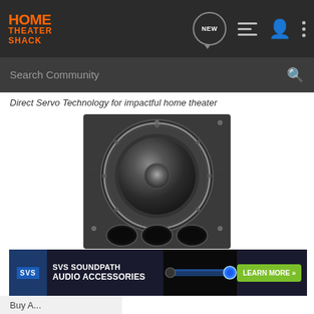HOME THEATER SHACK
Search Community
Direct Servo Technology for impactful home theater
[Figure (photo): Front view of a black subwoofer speaker with a large circular driver and three port holes at the bottom]
[Figure (illustration): SVS Soundpath Audio Accessories advertisement banner with logo, product text, cable photo, and Learn More button]
Buy A...